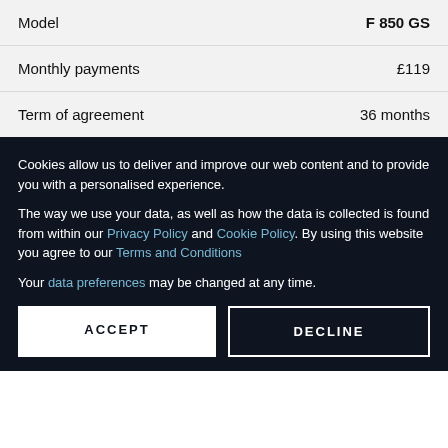|  |  |
| --- | --- |
| Model | F 850 GS |
| Monthly payments | £119 |
| Term of agreement | 36 months |
Cookies allow us to deliver and improve our web content and to provide you with a personalised experience.
The way we use your data, as well as how the data is collected is found from within our Privacy Policy and Cookie Policy. By using this website you agree to our Terms and Conditions
Your data preferences may be changed at any time.
ACCEPT
DECLINE